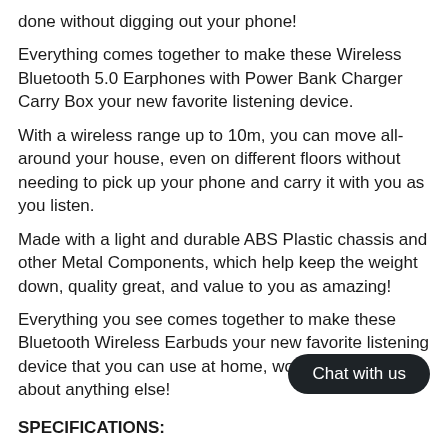done without digging out your phone!
Everything comes together to make these Wireless Bluetooth 5.0 Earphones with Power Bank Charger Carry Box your new favorite listening device.
With a wireless range up to 10m, you can move all-around your house, even on different floors without needing to pick up your phone and carry it with you as you listen.
Made with a light and durable ABS Plastic chassis and other Metal Components, which help keep the weight down, quality great, and value to you as amazing!
Everything you see comes together to make these Bluetooth Wireless Earbuds your new favorite listening device that you can use at home, work, sport, or just about anything else!
Chat with us
SPECIFICATIONS: